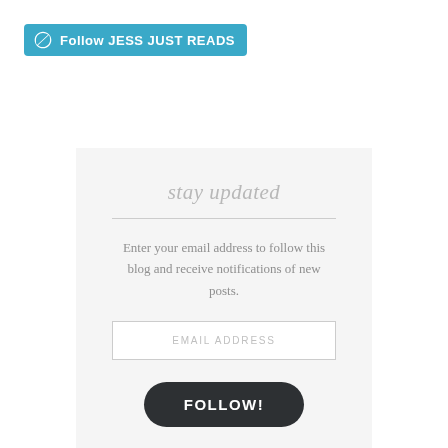[Figure (logo): WordPress follow button widget with teal/blue background, WordPress logo icon on left and text 'Follow JESS JUST READS' in white bold uppercase letters]
stay updated
Enter your email address to follow this blog and receive notifications of new posts.
EMAIL ADDRESS
FOLLOW!